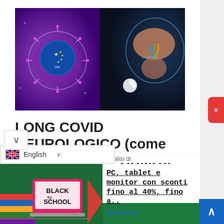[Figure (photo): Composite image: left half shows a coronavirus cell with Chinese flag CDC-style logo on purple background; right half shows a 3D cutaway illustration of a human head with brain and nasal passages highlighted]
LONG COVID NEUROLOGICO (come da SARS-2 BIO-ARMA)! “27 Milioni di Contagiati senza Gusto
[Figure (photo): Advertisement image: Black to School promotional graphic with laptop and school supplies on green background with red arrow]
PC, tablet e monitor con sconti fino al 40%, fino a..
MediaWorld
l’analisi di
English